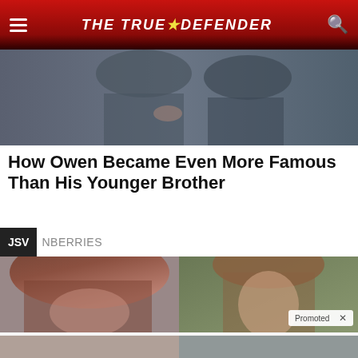THE TRUE DEFENDER
[Figure (photo): Hero image showing partial view of people in background, cropped at top]
How Owen Became Even More Famous Than His Younger Brother
JSV  NBERRIES
[Figure (photo): Left: close-up of woman's hair/face; Right: close-up of young girl's face with 'Promoted X' badge overlay]
[Figure (photo): Left card: photo of Melania and Donald Trump with video play button overlay; Right card: photo of woman with glasses looking thoughtful]
AOC Wants This Video Destroyed — Watch Now Before It's Banned
🔥 632,078
How Long Will Your $1 Million Last In Retirement?
🔥 352